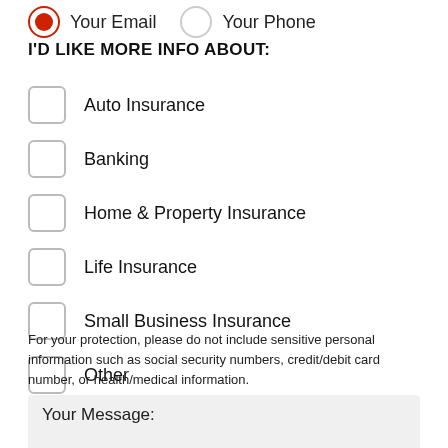Your Email (selected) | Your Phone
I'D LIKE MORE INFO ABOUT:
Auto Insurance
Banking
Home & Property Insurance
Life Insurance
Small Business Insurance
Other
For your protection, please do not include sensitive personal information such as social security numbers, credit/debit card number, or health/medical information.
Your Message: